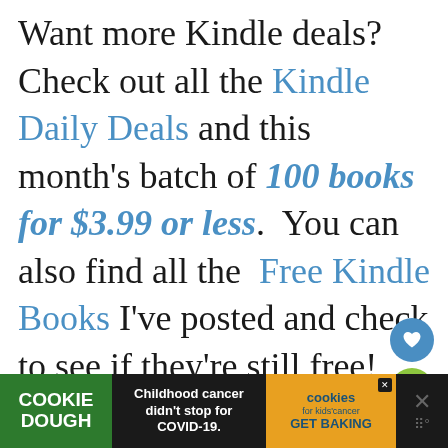Want more Kindle deals?  Check out all the Kindle Daily Deals and this month's batch of 100 books for $3.99 or less.  You can also find all the  Free Kindle Books I've posted and check to see if they're still free!
[Figure (screenshot): UI social sharing buttons: heart/like button (blue circle), number 1 badge (green circle), share button (green circle with share icon)]
[Figure (infographic): Advertisement banner: Cookie Dough brand ad on dark background. Left: green box with 'COOKIE DOUGH' text. Center: 'Childhood cancer didn't stop for COVID-19.' Right: orange box with cookies for kids cancer logo and 'GET BAKING'. Far right: close/X button area.]